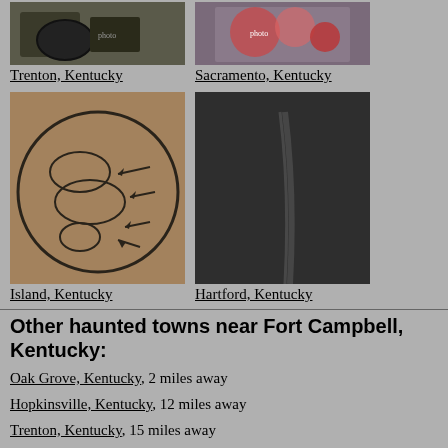[Figure (photo): Photo thumbnail for Trenton, Kentucky]
Trenton, Kentucky
[Figure (photo): Photo thumbnail for Sacramento, Kentucky]
Sacramento, Kentucky
[Figure (photo): Photo thumbnail for Island, Kentucky - shows a cymbal with circles drawn on it]
Island, Kentucky
[Figure (photo): Photo thumbnail for Hartford, Kentucky - dark/night photo]
Hartford, Kentucky
Other haunted towns near Fort Campbell, Kentucky:
Oak Grove, Kentucky, 2 miles away
Hopkinsville, Kentucky, 12 miles away
Trenton, Kentucky, 15 miles away
Guthrie, Kentucky, 20 miles away
Elkton, Kentucky, 23 miles away